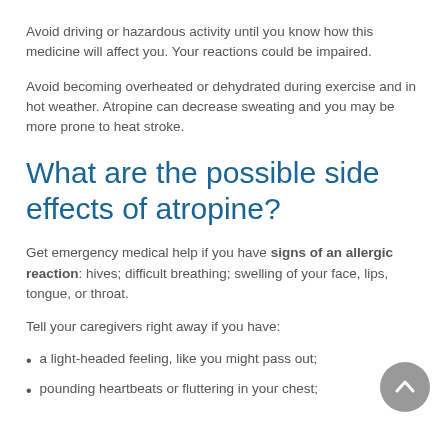Avoid driving or hazardous activity until you know how this medicine will affect you. Your reactions could be impaired.
Avoid becoming overheated or dehydrated during exercise and in hot weather. Atropine can decrease sweating and you may be more prone to heat stroke.
What are the possible side effects of atropine?
Get emergency medical help if you have signs of an allergic reaction: hives; difficult breathing; swelling of your face, lips, tongue, or throat.
Tell your caregivers right away if you have:
a light-headed feeling, like you might pass out;
pounding heartbeats or fluttering in your chest;